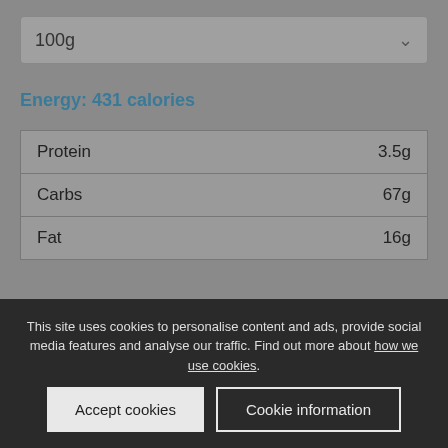100g
Energy: 431 calories
| Protein | 3.5g |
| Carbs | 67g |
| Fat | 16g |
[Figure (pie-chart): Macronutrients]
This site uses cookies to personalise content and ads, provide social media features and analyse our traffic. Find out more about how we use cookies.
Accept cookies
Cookie information